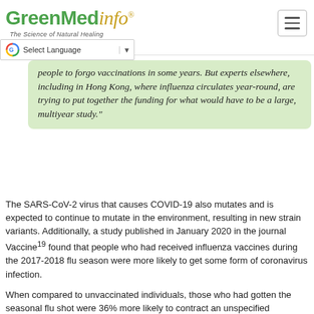GreenMedinfo — The Science of Natural Healing
people to forgo vaccinations in some years. But experts elsewhere, including in Hong Kong, where influenza circulates year-round, are trying to put together the funding for what would have to be a large, multiyear study."
The SARS-CoV-2 virus that causes COVID-19 also mutates and is expected to continue to mutate in the environment, resulting in new strain variants. Additionally, a study published in January 2020 in the journal Vaccine19 found that people who had received influenza vaccines during the 2017-2018 flu season were more likely to get some form of coronavirus infection.
When compared to unvaccinated individuals, those who had gotten the seasonal flu shot were 36% more likely to contract an unspecified coronavirus infection and 51% more likely to contract human metapneumovirus, which has respiratory symptoms similar to COVID-19.